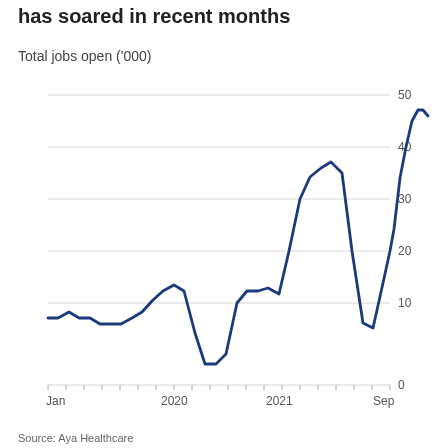has soared in recent months
Total jobs open ('000)
[Figure (line-chart): Line chart showing total healthcare jobs open in thousands from Jan 2019 to Sep 2021. The line starts around 11-12k, dips in mid-2020 to near 3k, rises to a peak of ~32k in mid-2020, drops to ~8k in late 2020, then soars to nearly 50k by Sep 2021.]
Source: Aya Healthcare